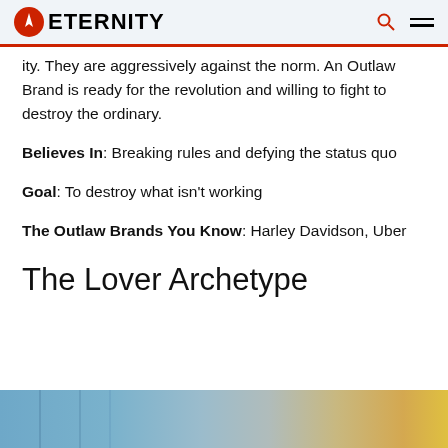ETERNITY
ity. They are aggressively against the norm. An Outlaw Brand is ready for the revolution and willing to fight to destroy the ordinary.
Believes In: Breaking rules and defying the status quo
Goal: To destroy what isn't working
The Outlaw Brands You Know: Harley Davidson, Uber
The Lover Archetype
[Figure (photo): Partial photo visible at bottom of page, appears to show people outdoors]